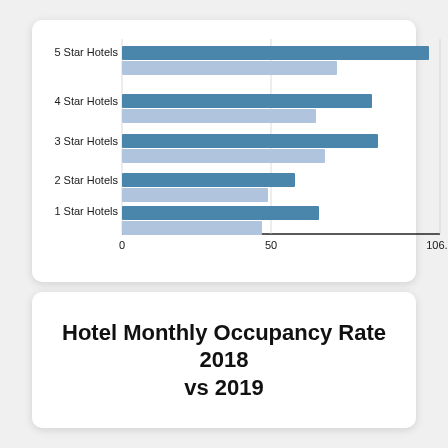[Figure (grouped-bar-chart): ]
Hotel Monthly Occupancy Rate 2018 vs 2019